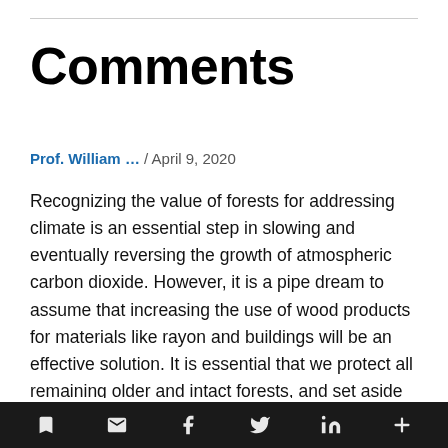Comments
Prof. William … / April 9, 2020
Recognizing the value of forests for addressing climate is an essential step in slowing and eventually reversing the growth of atmospheric carbon dioxide. However, it is a pipe dream to assume that increasing the use of wood products for materials like rayon and buildings will be an effective solution. It is essential that we protect all remaining older and intact forests, and set aside at least half of all secondary forests to become large sinks for carbon and havens for biodiversity. Proforestation managements that allow forests to achieve their ecological potential for carbon
social share bar with icons